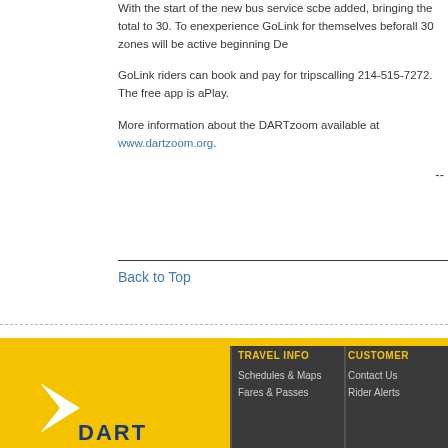With the start of the new bus service sc... be added, bringing the total to 30. To en... experience GoLink for themselves befor... all 30 zones will be active beginning De...
GoLink riders can book and pay for trips... calling 214-515-7272. The free app is a... Play.
More information about the DARTzoom ... available at www.dartzoom.org.
--
Back to Top
TRAVEL INFO | Schedules & Maps | Fares & Passes | CUSTOMER | Contact Us | Rider Alerts